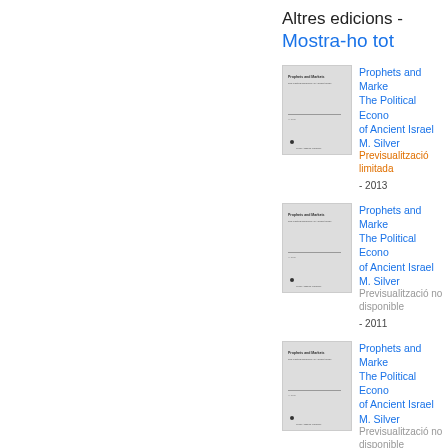Altres edicions - Mostra-ho tot
[Figure (illustration): Book cover thumbnail for Prophets and Markets 2013 edition]
Prophets and Markets: The Political Economy of Ancient Israel
M. Silver
Previsualització limitada - 2013
[Figure (illustration): Book cover thumbnail for Prophets and Markets 2011 edition]
Prophets and Markets: The Political Economy of Ancient Israel
M. Silver
Previsualització no disponible - 2011
[Figure (illustration): Book cover thumbnail for Prophets and Markets 2014 edition]
Prophets and Markets: The Political Economy of Ancient Israel
M. Silver
Previsualització no disponible - 2014
Frases i termes